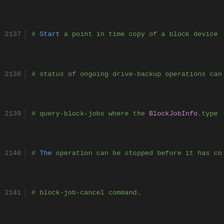Code listing lines 2137-2158 showing QEMU QMP drive-backup command documentation
[Figure (screenshot): Source code editor view showing commented documentation for drive-backup QMP command and query-named-block-nodes, with syntax highlighting. Lines 2137-2158.]